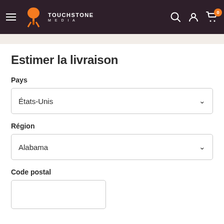[Figure (screenshot): Touchstone Media website navigation header with hamburger menu, logo, search icon, account icon, and cart with badge showing 0]
Estimer la livraison
Pays
États-Unis
Région
Alabama
Code postal